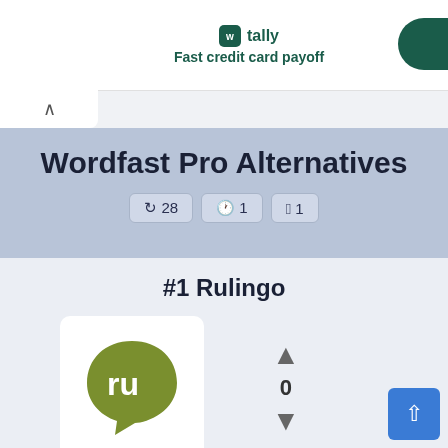[Figure (logo): Tally app advertisement banner with green logo and 'Fast credit card payoff' tagline]
Wordfast Pro Alternatives
↺ 28  🤖 1  🍎 1
#1 Rulingo
[Figure (logo): Rulingo app logo: olive/green rounded speech bubble with 'ru' text in white]
0